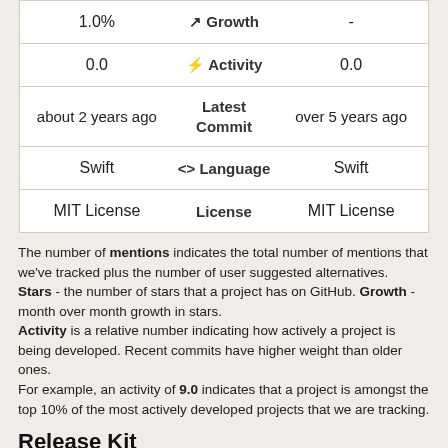| Col1 | Metric | Col2 |
| --- | --- | --- |
| 1.0% | Growth | - |
| 0.0 | Activity | 0.0 |
| about 2 years ago | Latest Commit | over 5 years ago |
| Swift | Language | Swift |
| MIT License | License | MIT License |
The number of mentions indicates the total number of mentions that we've tracked plus the number of user suggested alternatives. Stars - the number of stars that a project has on GitHub. Growth - month over month growth in stars. Activity is a relative number indicating how actively a project is being developed. Recent commits have higher weight than older ones. For example, an activity of 9.0 indicates that a project is amongst the top 10% of the most actively developed projects that we are tracking.
Release Kit